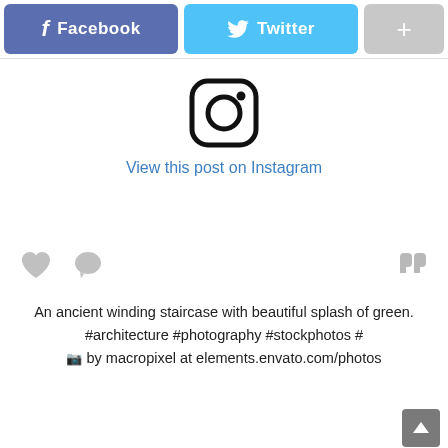[Figure (screenshot): Social share buttons row: Facebook (blue-purple), Twitter (light blue), and a plus button (grey)]
[Figure (logo): Instagram logo icon - rounded square with circle and dot]
View this post on Instagram
[Figure (infographic): Interaction icons: heart, speech bubble (left), quote mark (right)]
An ancient winding staircase with beautiful splash of green. #architecture #photography #stockphotos # 📷 by macropixel at elements.envato.com/photos